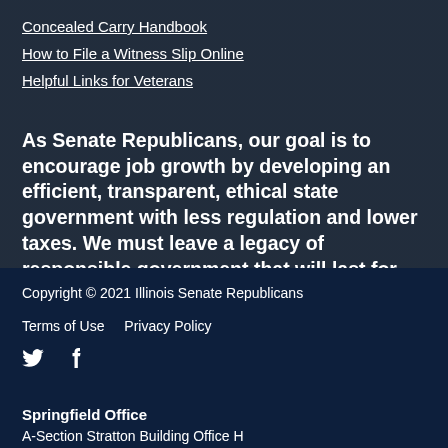Concealed Carry Handbook
How to File a Witness Slip Online
Helpful Links for Veterans
As Senate Republicans, our goal is to encourage job growth by developing an efficient, transparent, ethical state government with less regulation and lower taxes. We must leave a legacy of responsible government that will last for generations.
Copyright © 2021 Illinois Senate Republicans
Terms of Use   Privacy Policy
Springfield Office
A-Section Stratton Building Office H